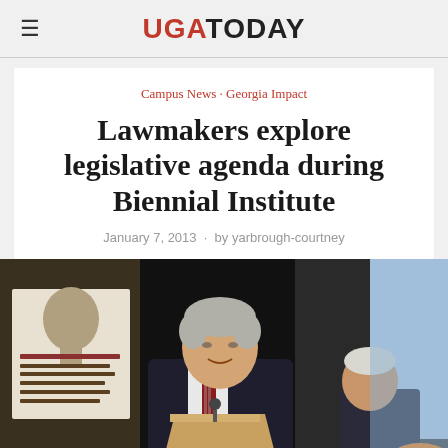UGA TODAY
Campus News · Georgia Impact
Lawmakers explore legislative agenda during Biennial Institute
January 7, 2013 · by yarbrough-courtney
[Figure (photo): A man in a dark suit with a striped tie speaks at a podium. Behind him are flags including the Georgia state flag, a dark curtain backdrop, and a Biennial Institute banner on the left. Another person in a suit is partially visible to the right.]